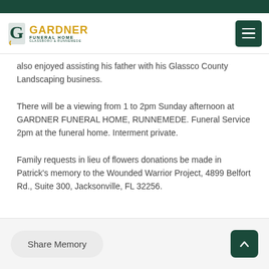Gardner Funeral Home
also enjoyed assisting his father with his Glassco County Landscaping business.
There will be a viewing from 1 to 2pm Sunday afternoon at GARDNER FUNERAL HOME, RUNNEMEDE. Funeral Service 2pm at the funeral home. Interment private.
Family requests in lieu of flowers donations be made in Patrick's memory to the Wounded Warrior Project, 4899 Belfort Rd., Suite 300, Jacksonville, FL 32256.
Share Memory